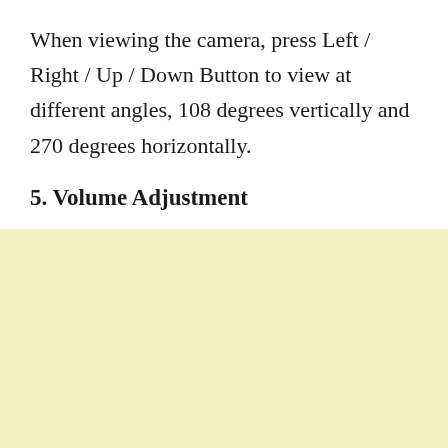When viewing the camera, press Left / Right / Up / Down Button to view at different angles, 108 degrees vertically and 270 degrees horizontally.
5. Volume Adjustment
[Figure (other): Light yellow background area filling the lower portion of the page]